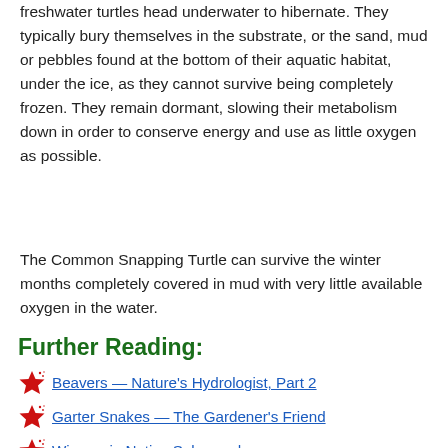freshwater turtles head underwater to hibernate. They typically bury themselves in the substrate, or the sand, mud or pebbles found at the bottom of their aquatic habitat, under the ice, as they cannot survive being completely frozen. They remain dormant, slowing their metabolism down in order to conserve energy and use as little oxygen as possible.
The Common Snapping Turtle can survive the winter months completely covered in mud with very little available oxygen in the water.
Further Reading:
Beavers — Nature's Hydrologist, Part 2
Garter Snakes — The Gardener's Friend
Wisconsin Native Salamanders